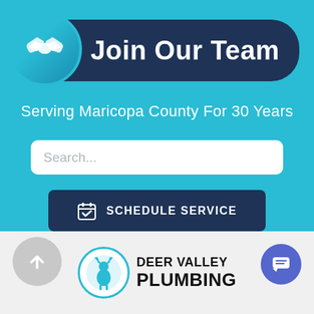[Figure (logo): Join Our Team banner with handshake icon in blue circle on dark navy rounded rectangle background]
Serving Maricopa County For 30 Years
Search...
SCHEDULE SERVICE
[Figure (logo): Deer Valley Plumbing logo with deer icon in blue circle and bold text]
[Figure (infographic): Back to top arrow button (gray circle) and chat button (blue circle)]